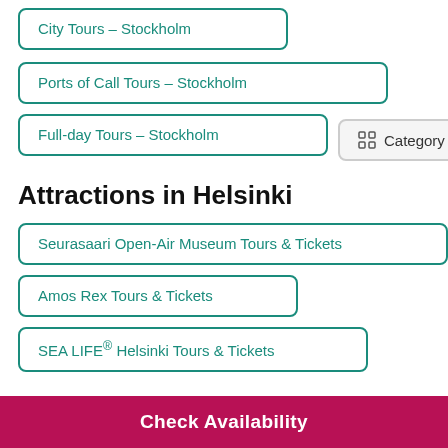City Tours - Stockholm
Ports of Call Tours - Stockholm
Full-day Tours - Stockholm
Category
Attractions in Helsinki
Seurasaari Open-Air Museum Tours & Tickets
Amos Rex Tours & Tickets
SEA LIFE® Helsinki Tours & Tickets
Check Availability